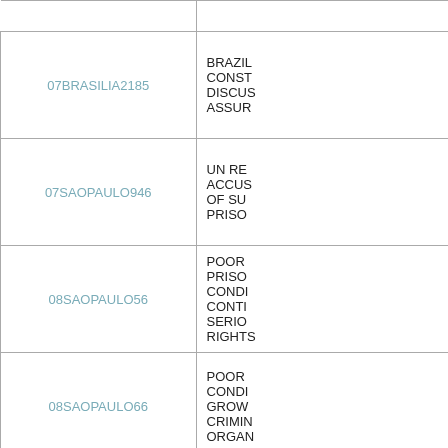| ID | Description |
| --- | --- |
|  |  |
| 07BRASILIA2185 | BRAZIL CONST DISCUS ASSUR |
| 07SAOPAULO946 | UN RE ACCUS OF SU PRISO |
| 08SAOPAULO56 | POOR PRISO CONDI CONTI SERIO RIGHTS |
| 08SAOPAULO66 | POOR CONDI GROW CRIMIN ORGAN |